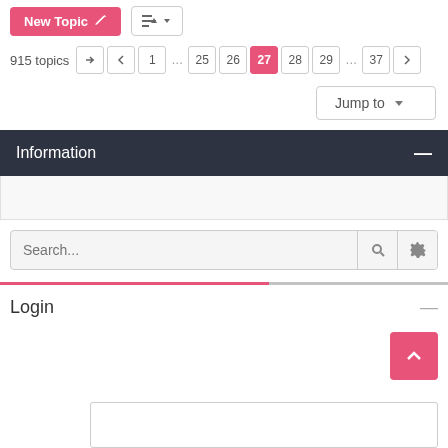[Figure (screenshot): UI screenshot of a forum topic list page showing New Topic button, sort button, pagination (915 topics, pages 1...25 26 27 28 29...37), Jump to dropdown, Information section header, search bar with Search... placeholder, gear and magnifier icons, a horizontal divider line, Login section header, scroll-to-top button, and a partial dialog box at the bottom.]